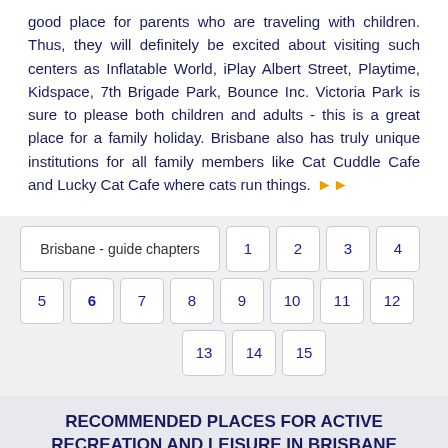good place for parents who are traveling with children. Thus, they will definitely be excited about visiting such centers as Inflatable World, iPlay Albert Street, Playtime, Kidspace, 7th Brigade Park, Bounce Inc. Victoria Park is sure to please both children and adults - this is a great place for a family holiday. Brisbane also has truly unique institutions for all family members like Cat Cuddle Cafe and Lucky Cat Cafe where cats run things.
[Figure (infographic): Navigation pagination block for Brisbane guide chapters 1-15, with chapter 6 highlighted in bold]
RECOMMENDED PLACES FOR ACTIVE RECREATION AND LEISURE IN BRISBANE